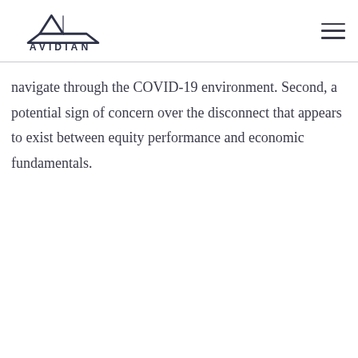AVIDIAN
navigate through the COVID-19 environment. Second, a potential sign of concern over the disconnect that appears to exist between equity performance and economic fundamentals.